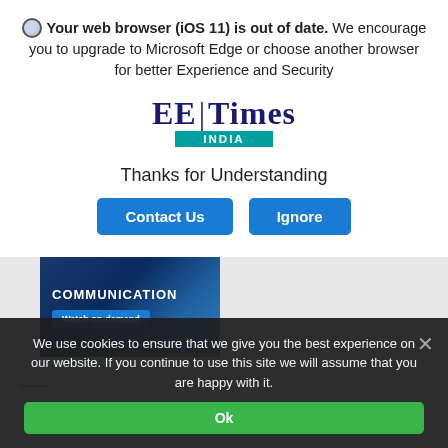Your web browser (iOS 11) is out of date. We encourage you to upgrade to Microsoft Edge or choose another browser for better Experience and Security
[Figure (logo): EE Times India logo with blue serif text and teal INDIA bar]
Thanks for Understanding
Contact Us   Ignore
[Figure (screenshot): Background website showing IC Design tab and COMMUNICATION banner with Watch on-demand button]
We use cookies to ensure that we give you the best experience on our website. If you continue to use this site we will assume that you are happy with it.
Ok